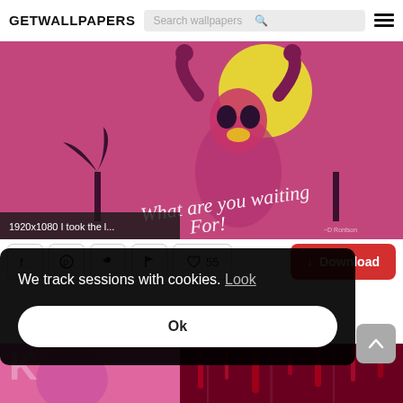GETWALLPAPERS
[Figure (illustration): Pink/magenta background illustration of a cartoon villain character raising fists with a yellow moon behind, palm trees, and cursive text 'What are you waiting for!' at the bottom]
1920x1080 I took the l...
55
Download
We track sessions with cookies. Look
Ok
[Figure (photo): Partial view of a pink/magenta illustrated wallpaper at bottom left]
[Figure (photo): Partial view of a dark red/crimson wallpaper at bottom right]